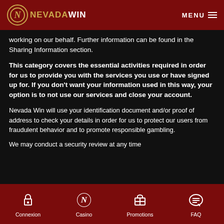NevadaWin — MENU
working on our behalf. Further information can be found in the Sharing Information section.
This category covers the essential activities required in order for us to provide you with the services you use or have signed up for. If you don't want your information used in this way, your option is to not use our services and close your account.
Nevada Win will use your identification document and/or proof of address to check your details in order for us to protect our users from fraudulent behavior and to promote responsible gambling.
We may conduct a security review at any time
Connexion  Casino  Promotions  FAQ